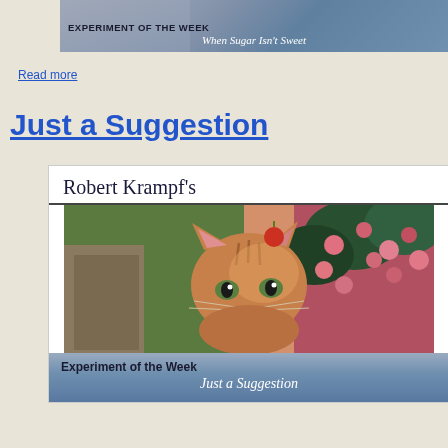[Figure (photo): Top card showing a cat photo with banner text: EXPERIMENT OF THE WEEK / When Sugar Isn't Sweet]
EXPERIMENT OF THE WEEK
When Sugar Isn't Sweet
Read more
Just a Suggestion
[Figure (photo): Robert Krampf's Experiment of the Week card featuring an orange tabby cat in front of pink flowers with text 'Just a Suggestion']
Robert Krampf's
Experiment of the Week
Just a Suggestion